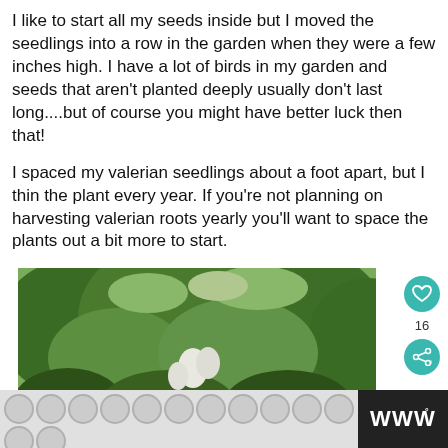I like to start all my seeds inside but I moved the seedlings into a row in the garden when they were a few inches high. I have a lot of birds in my garden and seeds that aren't planted deeply usually don't last long....but of course you might have better luck then that!
I spaced my valerian seedlings about a foot apart, but I thin the plant every year. If you're not planning on harvesting valerian roots yearly you'll want to space the plants out a bit more to start.
[Figure (photo): Photograph of a garden with lush green trees and foliage, showing white flowering valerian plants among dense green tree canopy]